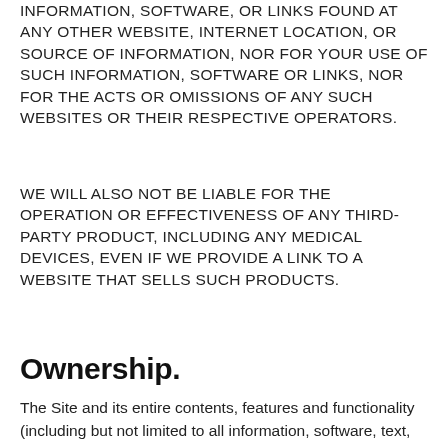INFORMATION, SOFTWARE, OR LINKS FOUND AT ANY OTHER WEBSITE, INTERNET LOCATION, OR SOURCE OF INFORMATION, NOR FOR YOUR USE OF SUCH INFORMATION, SOFTWARE OR LINKS, NOR FOR THE ACTS OR OMISSIONS OF ANY SUCH WEBSITES OR THEIR RESPECTIVE OPERATORS.
WE WILL ALSO NOT BE LIABLE FOR THE OPERATION OR EFFECTIVENESS OF ANY THIRD-PARTY PRODUCT, INCLUDING ANY MEDICAL DEVICES, EVEN IF WE PROVIDE A LINK TO A WEBSITE THAT SELLS SUCH PRODUCTS.
Ownership.
The Site and its entire contents, features and functionality (including but not limited to all information, software, text, displays, images, video and audio, and the design, selection and arrangement